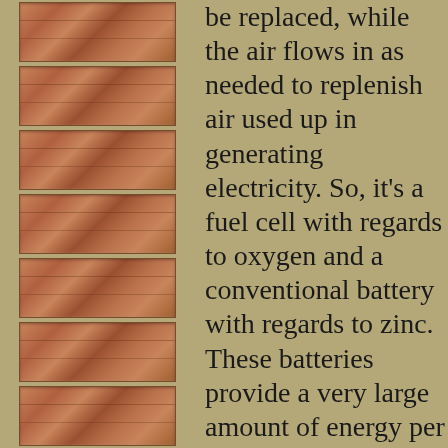[Figure (photo): Series of 8 wood grain texture tiles arranged vertically on the left side of the page]
be replaced, while the air flows in as needed to replenish air used up in generating electricity. So, it's a fuel cell with regards to oxygen and a conventional battery with regards to zinc. These batteries provide a very large amount of energy per unit weight, because they only have to carry half the chemicals, the rest coming from the air. It's the same reason jet engines can